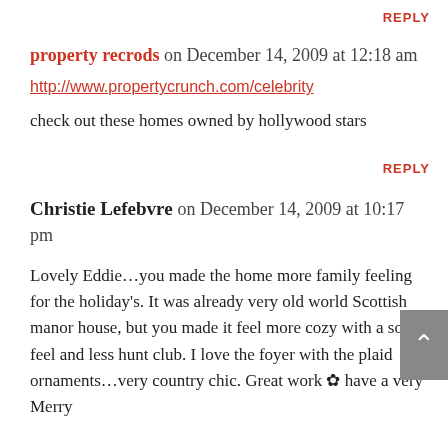REPLY
property recrods on December 14, 2009 at 12:18 am
http://www.propertycrunch.com/celebrity
check out these homes owned by hollywood stars
REPLY
Christie Lefebvre on December 14, 2009 at 10:17 pm
Lovely Eddie…you made the home more family feeling for the holiday's. It was already very old world Scottish manor house, but you made it feel more cozy with a softer feel and less hunt club. I love the foyer with the plaid ornaments…very country chic. Great work ✿ have a very Merry